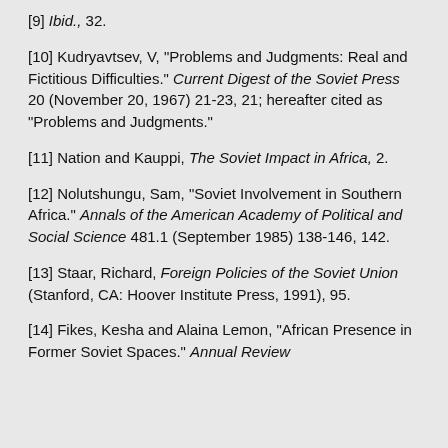[9] Ibid., 32.
[10] Kudryavtsev, V, "Problems and Judgments: Real and Fictitious Difficulties." Current Digest of the Soviet Press 20 (November 20, 1967) 21-23, 21; hereafter cited as "Problems and Judgments."
[11] Nation and Kauppi, The Soviet Impact in Africa, 2.
[12] Nolutshungu, Sam, "Soviet Involvement in Southern Africa." Annals of the American Academy of Political and Social Science 481.1 (September 1985) 138-146, 142.
[13] Staar, Richard, Foreign Policies of the Soviet Union (Stanford, CA: Hoover Institute Press, 1991), 95.
[14] Fikes, Kesha and Alaina Lemon, "African Presence in Former Soviet Spaces." Annual Review